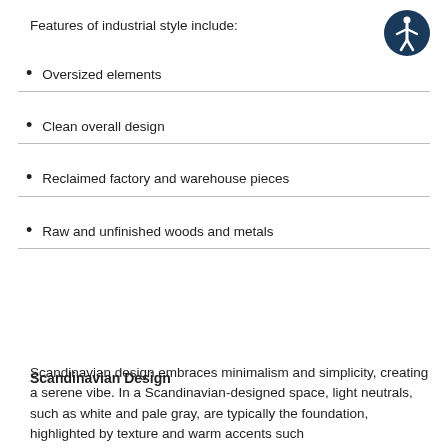Features of industrial style include:
[Figure (illustration): Accessibility icon: a circular dark blue badge with a white figure of a person with arms and legs outstretched]
Oversized elements
Clean overall design
Reclaimed factory and warehouse pieces
Raw and unfinished woods and metals
Scandinavian Design
Scandinavian design embraces minimalism and simplicity, creating a serene vibe. In a Scandinavian-designed space, light neutrals, such as white and pale gray, are typically the foundation, highlighted by texture and warm accents such…